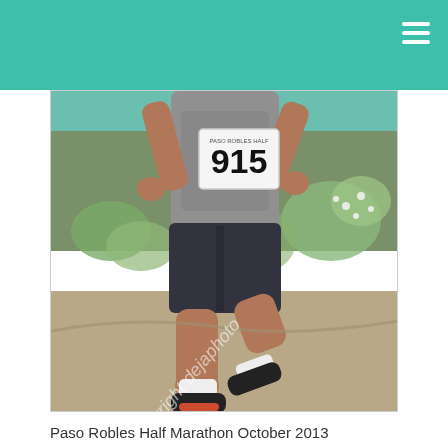[Figure (photo): A runner wearing bib number 915 running on a dirt trail during the Paso Robles Half Marathon. The runner is wearing a gray long-sleeve shirt, dark shorts, and running shoes. The background shows green shrubs and flowers. A diagonal watermark reads 'copyright dejaphoto' across the image.]
Paso Robles Half Marathon October 2013